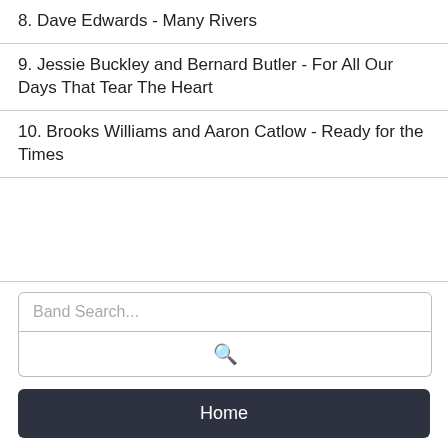8. Dave Edwards - Many Rivers
9. Jessie Buckley and Bernard Butler - For All Our Days That Tear The Heart
10. Brooks Williams and Aaron Catlow - Ready for the Times
Band Search...
Home